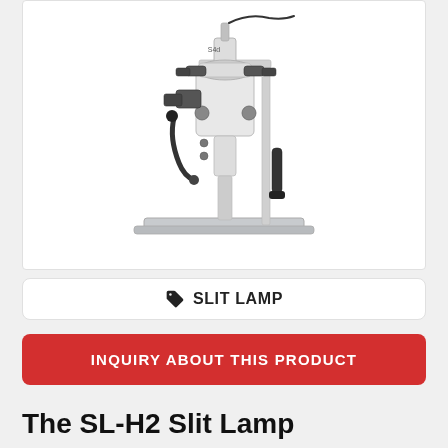[Figure (photo): A white slit lamp (SL-H2) medical ophthalmic instrument on a rectangular metal base, with joystick arm, binocular microscope head, and a camera attachment on a vertical pole. White and silver finish with black components.]
SLIT LAMP
INQUIRY ABOUT THIS PRODUCT
The SL-H2 Slit Lamp
Crafted in Europe, S4OPTIK slit lamps deliver clear, precise ocular observation for the clinician.